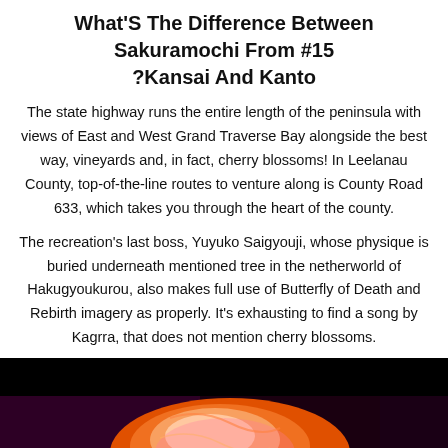What'S The Difference Between Sakuramochi From #15 ?Kansai And Kanto
The state highway runs the entire length of the peninsula with views of East and West Grand Traverse Bay alongside the best way, vineyards and, in fact, cherry blossoms! In Leelanau County, top-of-the-line routes to venture along is County Road 633, which takes you through the heart of the county.
The recreation's last boss, Yuyuko Saigyouji, whose physique is buried underneath mentioned tree in the netherworld of Hakugyoukurou, also makes full use of Butterfly of Death and Rebirth imagery as properly. It's exhausting to find a song by Kagrra, that does not mention cherry blossoms.
[Figure (photo): Dark background with a colorful abstract/artistic image showing warm red, orange, and pink tones, possibly a stylized figure or face. A grey scroll-to-top button with an upward arrow is visible in the bottom-right corner.]